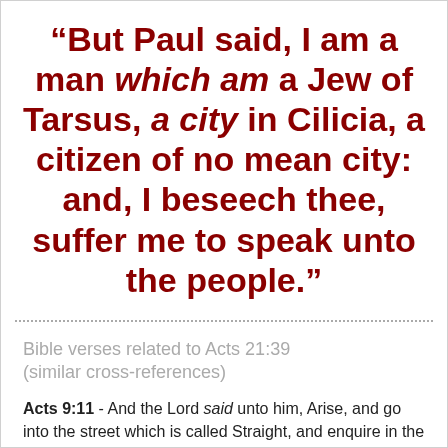“But Paul said, I am a man which am a Jew of Tarsus, a city in Cilicia, a citizen of no mean city: and, I beseech thee, suffer me to speak unto the people.”
Bible verses related to Acts 21:39 (similar cross-references)
Acts 9:11 - And the Lord said unto him, Arise, and go into the street which is called Straight, and enquire in the house of Judas for one called Saul,